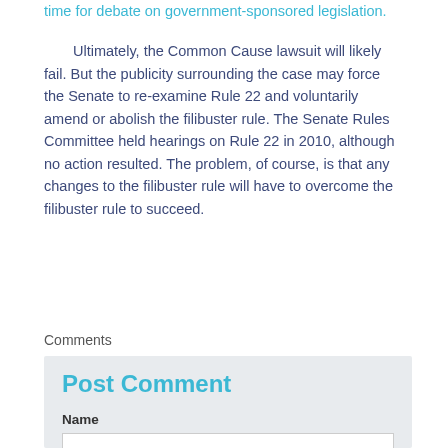time for debate on government-sponsored legislation.
Ultimately, the Common Cause lawsuit will likely fail. But the publicity surrounding the case may force the Senate to re-examine Rule 22 and voluntarily amend or abolish the filibuster rule. The Senate Rules Committee held hearings on Rule 22 in 2010, although no action resulted. The problem, of course, is that any changes to the filibuster rule will have to overcome the filibuster rule to succeed.
Comments
Post Comment
Name